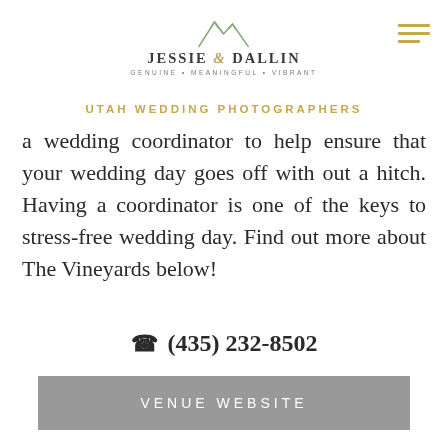[Figure (logo): Jessie & Dallin logo with mountain SVG icon, name in uppercase serif, tagline 'GENUINE • MEANINGFUL • VIBRANT']
UTAH WEDDING PHOTOGRAPHERS
a wedding coordinator to help ensure that your wedding day goes off with out a hitch. Having a coordinator is one of the keys to stress-free wedding day. Find out more about The Vineyards below!
☎ (435) 232-8502
VENUE WEBSITE